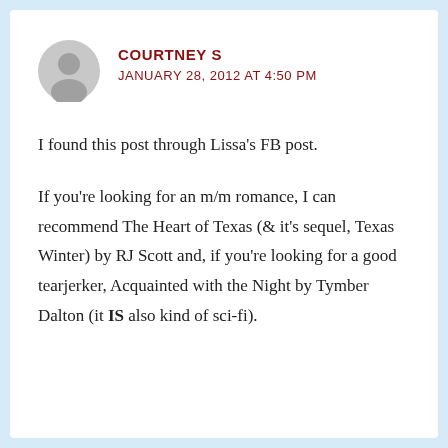[Figure (illustration): Gray circular avatar placeholder icon with a silhouette of a person]
COURTNEY S
JANUARY 28, 2012 AT 4:50 PM
I found this post through Lissa's FB post.
If you're looking for an m/m romance, I can recommend The Heart of Texas (& it's sequel, Texas Winter) by RJ Scott and, if you're looking for a good tearjerker, Acquainted with the Night by Tymber Dalton (it IS also kind of sci-fi).